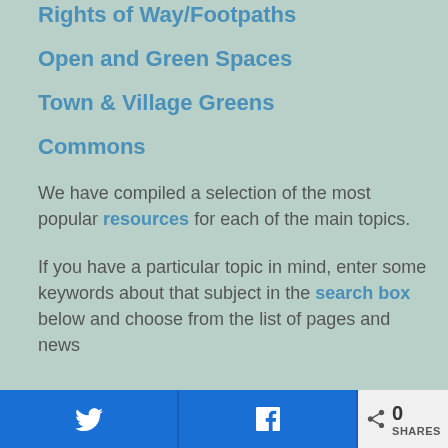Rights of Way/Footpaths
Open and Green Spaces
Town & Village Greens
Commons
We have compiled a selection of the most popular resources for each of the main topics.
If you have a particular topic in mind, enter some keywords about that subject in the search box below and choose from the list of pages and news
Twitter share | Facebook share | 0 SHARES